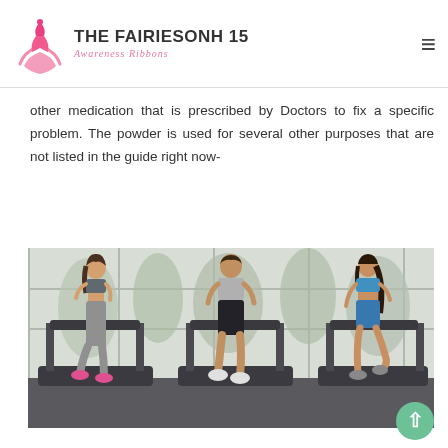THE FAIRIESONH 15 | Awareness Ribbons
other medication that is prescribed by Doctors to fix a specific problem. The powder is used for several other purposes that are not listed in the guide right now-
[Figure (photo): Three people running on treadmills in a modern gym with large windows showing trees outside. From left: a woman in gray sports bra and leggings, a man in gray tank top and black shorts, a woman in blue sports bra and blue shorts.]